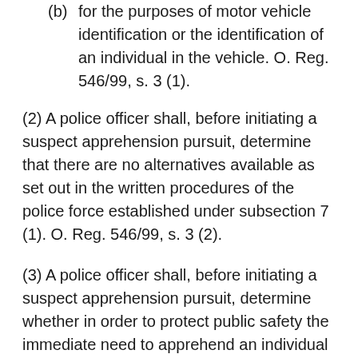(b) for the purposes of motor vehicle identification or the identification of an individual in the vehicle. O. Reg. 546/99, s. 3 (1).
(2) A police officer shall, before initiating a suspect apprehension pursuit, determine that there are no alternatives available as set out in the written procedures of the police force established under subsection 7 (1). O. Reg. 546/99, s. 3 (2).
(3) A police officer shall, before initiating a suspect apprehension pursuit, determine whether in order to protect public safety the immediate need to apprehend an individual in the fleeing motor vehicle or the need to identify the fleeing motor